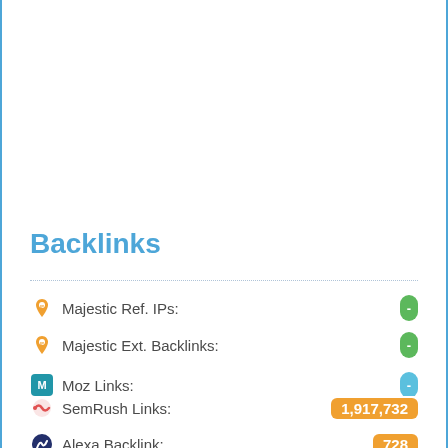Backlinks
Majestic Ref. IPs: -
Majestic Ext. Backlinks: -
Moz Links: -
Majestic Ref. Domains: -
SemRush Links: 1,917,732
Alexa Backlink: 728